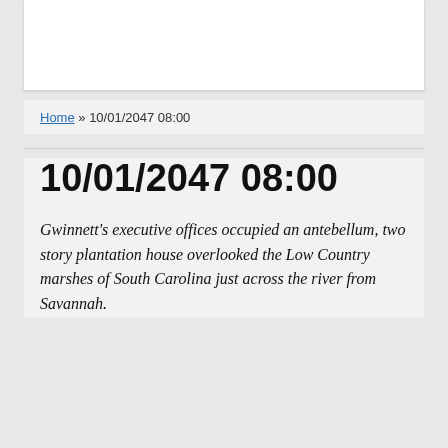Home » 10/01/2047 08:00
10/01/2047 08:00
Gwinnett's executive offices occupied an antebellum, two story plantation house overlooked the Low Country marshes of South Carolina just across the river from Savannah.